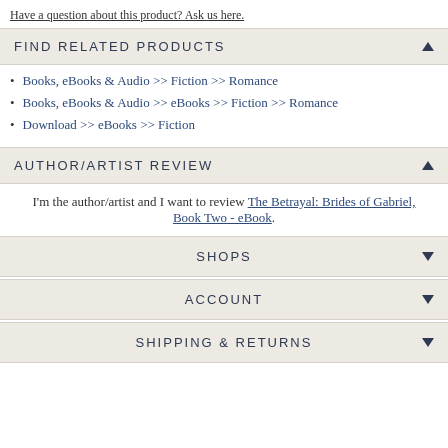Have a question about this product? Ask us here.
FIND RELATED PRODUCTS
Books, eBooks & Audio >> Fiction >> Romance
Books, eBooks & Audio >> eBooks >> Fiction >> Romance
Download >> eBooks >> Fiction
AUTHOR/ARTIST REVIEW
I'm the author/artist and I want to review The Betrayal: Brides of Gabriel, Book Two - eBook.
SHOPS
ACCOUNT
SHIPPING & RETURNS